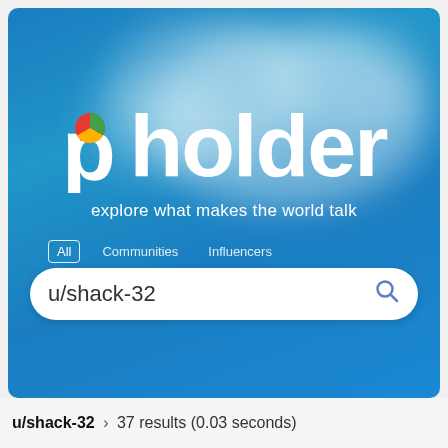[Figure (screenshot): Pholder website screenshot showing the logo with tagline 'explore what makes the world talk', navigation tabs (All, Communities, Influencers), and a search box containing 'u/shack-32' on a blue sky background with clouds]
u/shack-32 › 37 results (0.03 seconds)